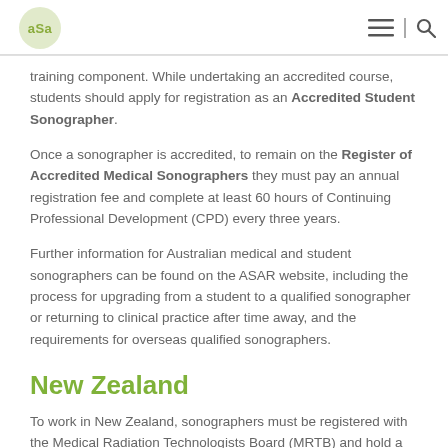ASA logo, navigation menu icon, search icon
training component. While undertaking an accredited course, students should apply for registration as an Accredited Student Sonographer.
Once a sonographer is accredited, to remain on the Register of Accredited Medical Sonographers they must pay an annual registration fee and complete at least 60 hours of Continuing Professional Development (CPD) every three years.
Further information for Australian medical and student sonographers can be found on the ASAR website, including the process for upgrading from a student to a qualified sonographer or returning to clinical practice after time away, and the requirements for overseas qualified sonographers.
New Zealand
To work in New Zealand, sonographers must be registered with the Medical Radiation Technologists Board (MRTB) and hold a current Annual Practising Certificate (APC).